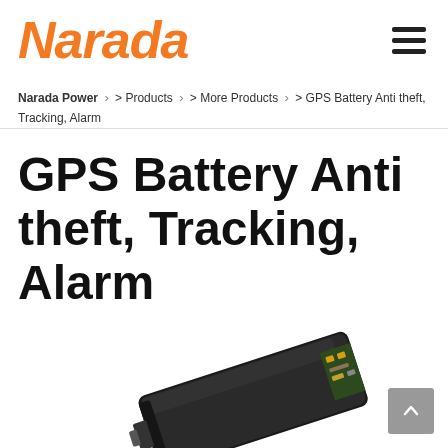Narada
Narada Power > Products > More Products > GPS Battery Anti theft, Tracking, Alarm
GPS Battery Anti theft, Tracking, Alarm
[Figure (photo): A black rectangular GPS battery device with an internal circuit board visible at one end, photographed at an angle on a white background.]